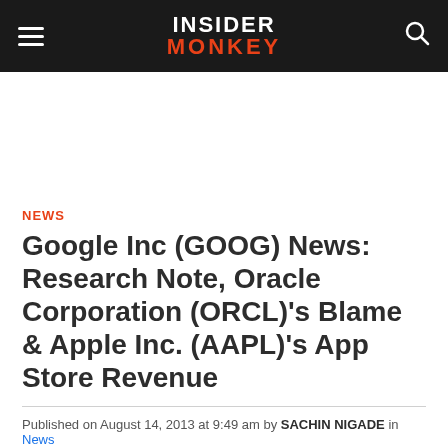INSIDER MONKEY
NEWS
Google Inc (GOOG) News: Research Note, Oracle Corporation (ORCL)'s Blame & Apple Inc. (AAPL)'s App Store Revenue
Published on August 14, 2013 at 9:49 am by SACHIN NIGADE in News
Editor's Note: Related articles on Google include